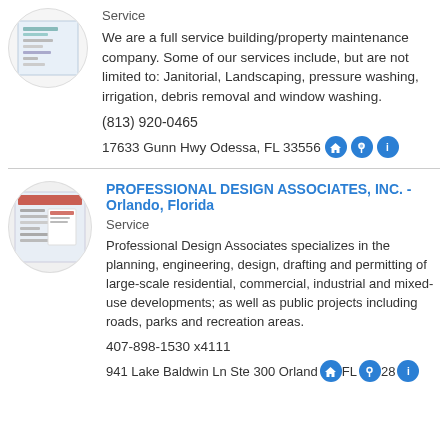[Figure (illustration): Circular thumbnail image of a business document/listing for first company]
Service
We are a full service building/property maintenance company. Some of our services include, but are not limited to: Janitorial, Landscaping, pressure washing, irrigation, debris removal and window washing.
(813) 920-0465
17633 Gunn Hwy Odessa, FL 33556
[Figure (illustration): Circular thumbnail image of a business document/listing for Professional Design Associates]
PROFESSIONAL DESIGN ASSOCIATES, INC. - Orlando, Florida
Service
Professional Design Associates specializes in the planning, engineering, design, drafting and permitting of large-scale residential, commercial, industrial and mixed-use developments; as well as public projects including roads, parks and recreation areas.
407-898-1530 x4111
941 Lake Baldwin Ln Ste 300 Orlando FL 328